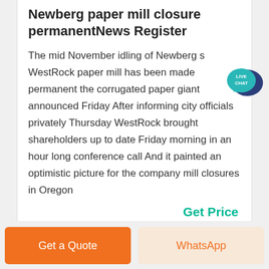Newberg paper mill closure permanentNews Register
The mid November idling of Newberg s WestRock paper mill has been made permanent the corrugated paper giant announced Friday After informing city officials privately Thursday WestRock brought shareholders up to date Friday morning in an hour long conference call And it painted an optimistic picture for the company mill closures in Oregon
[Figure (illustration): Live Chat speech bubble icon in teal/dark blue colors with text LIVE CHAT]
Get Price
Get a Quote
WhatsApp